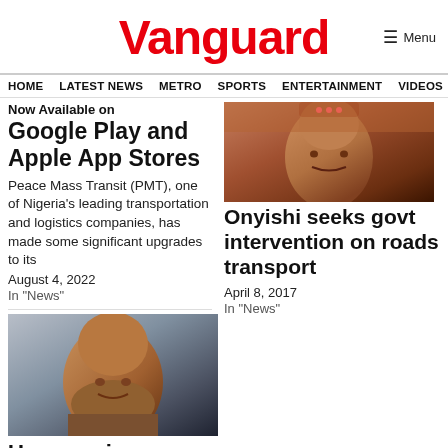Vanguard
Menu
HOME  LATEST NEWS  METRO  SPORTS  ENTERTAINMENT  VIDEOS
Now Available on Google Play and Apple App Stores
Peace Mass Transit (PMT), one of Nigeria's leading transportation and logistics companies, has made some significant upgrades to its
August 4, 2022
In "News"
[Figure (photo): Close-up photo of a person's face (partially cropped)]
Onyishi seeks govt intervention on roads transport
April 8, 2017
In "News"
[Figure (photo): Photo of a man in a beige shirt with hands clasped]
Ugwuanyi